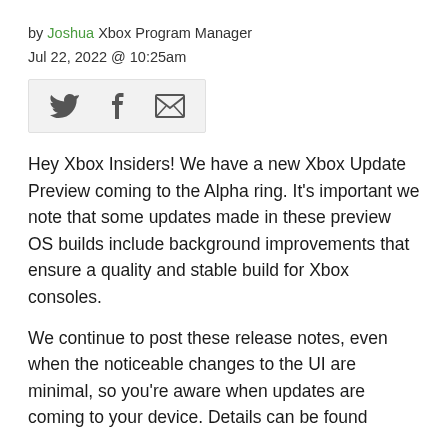by Joshua Xbox Program Manager
Jul 22, 2022 @ 10:25am
[Figure (other): Social sharing bar with Twitter bird icon, Facebook f icon, and email envelope icon on a light gray background]
Hey Xbox Insiders! We have a new Xbox Update Preview coming to the Alpha ring. It’s important we note that some updates made in these preview OS builds include background improvements that ensure a quality and stable build for Xbox consoles.
We continue to post these release notes, even when the noticeable changes to the UI are minimal, so you’re aware when updates are coming to your device. Details can be found